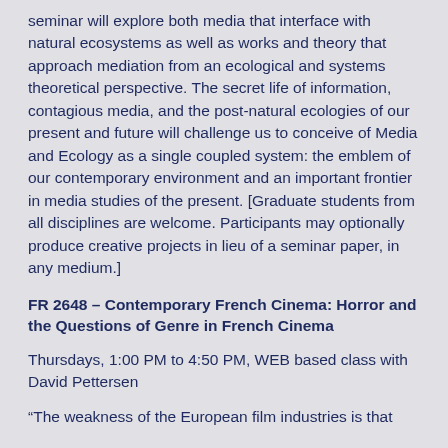seminar will explore both media that interface with natural ecosystems as well as works and theory that approach mediation from an ecological and systems theoretical perspective. The secret life of information, contagious media, and the post-natural ecologies of our present and future will challenge us to conceive of Media and Ecology as a single coupled system: the emblem of our contemporary environment and an important frontier in media studies of the present. [Graduate students from all disciplines are welcome. Participants may optionally produce creative projects in lieu of a seminar paper, in any medium.]
FR 2648 – Contemporary French Cinema: Horror and the Questions of Genre in French Cinema
Thursdays, 1:00 PM to 4:50 PM, WEB based class with David Pettersen
“The weakness of the European film industries is that